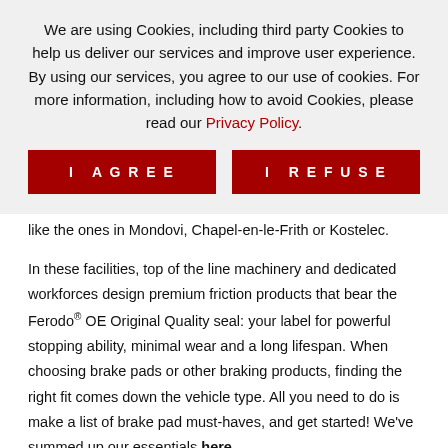We are using Cookies, including third party Cookies to help us deliver our services and improve user experience. By using our services, you agree to our use of cookies. For more information, including how to avoid Cookies, please read our Privacy Policy.
I AGREE
I REFUSE
product/services will be developed in OE production plants like the ones in Mondovi, Chapel-en-le-Frith or Kostelec.
In these facilities, top of the line machinery and dedicated workforces design premium friction products that bear the Ferodo® OE Original Quality seal: your label for powerful stopping ability, minimal wear and a long lifespan. When choosing brake pads or other braking products, finding the right fit comes down the vehicle type. All you need to do is make a list of brake pad must-haves, and get started! We've summed up our essentials here.